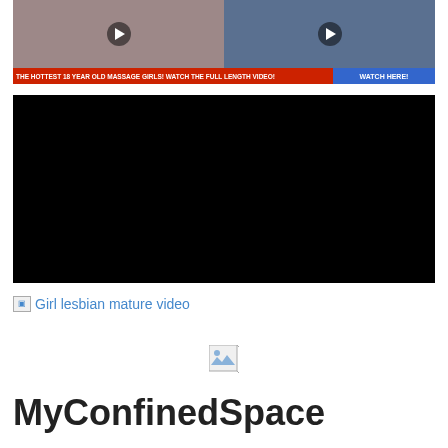[Figure (screenshot): Advertisement banner showing two women with play buttons overlay, with red bar text 'THE HOTTEST 18 YEAR OLD MASSAGE GIRLS! WATCH THE FULL LENGTH VIDEO!' and blue 'WATCH HERE!' button]
[Figure (screenshot): Black video player rectangle]
Girl lesbian mature video
[Figure (screenshot): Small broken image icon centered on page]
MyConfinedSpace